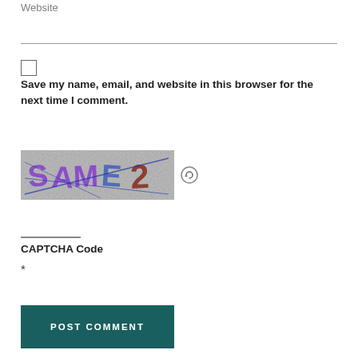Website
Save my name, email, and website in this browser for the next time I comment.
[Figure (other): CAPTCHA image with distorted letters/numbers on a noisy background, with a refresh icon button beside it]
CAPTCHA Code
*
POST COMMENT